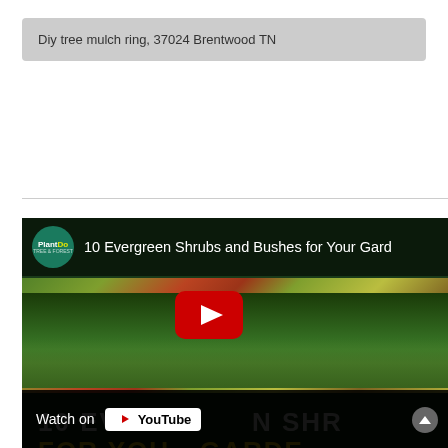Diy tree mulch ring, 37024 Brentwood TN
[Figure (screenshot): YouTube video thumbnail for '10 Evergreen Shrubs and Bushes for Your Garden' by PlantDo channel, showing garden shrubs and bushes with a large YouTube play button overlay. Bottom bar shows 'Watch on YouTube' text.]